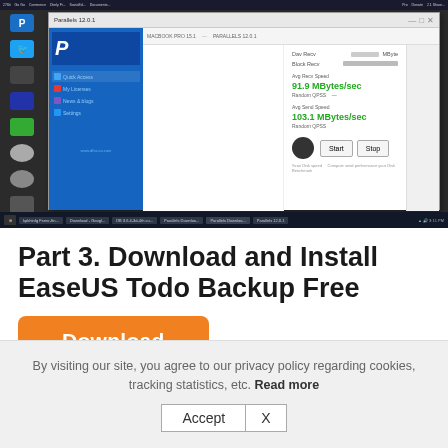[Figure (screenshot): Screenshot of a Windows desktop showing a Parallels-style application window with speed test results. The app shows Avg Recv Speed: 91.9 MBytes/sec and Avg Send Speed: 103.1 MBytes/sec in green text, with Start and Stop buttons. The desktop has a dark taskbar.]
Part 3.  Download and Install EaseUS Todo Backup Free
Download
By visiting our site, you agree to our privacy policy regarding cookies, tracking statistics, etc. Read more